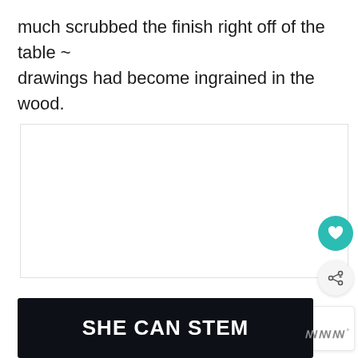much scrubbed the finish right off of the table ~ drawings had become ingrained in the wood.
[Figure (screenshot): White content area with three gray dots (pagination indicators) centered in it]
[Figure (infographic): Teal circular heart/like button and light gray circular share button on the right side]
[Figure (infographic): What's Next panel with a snowman block thumbnail, teal 'WHAT'S NEXT ->' label, and title 'Snowman Block...']
[Figure (infographic): Dark advertisement banner with bold white text 'SHE CAN STEM' and a logo on the right]